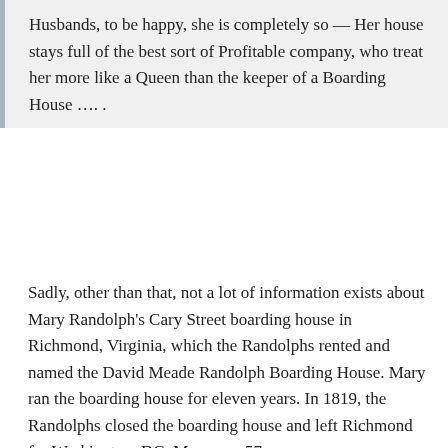Husbands, to be happy, she is completely so — Her house stays full of the best sort of Profitable company, who treat her more like a Queen than the keeper of a Boarding House …. .
Sadly, other than that, not a lot of information exists about Mary Randolph's Cary Street boarding house in Richmond, Virginia, which the Randolphs rented and named the David Meade Randolph Boarding House. Mary ran the boarding house for eleven years. In 1819, the Randolphs closed the boarding house and left Richmond for Washington, DC. Mary was 57.
[Figure (photo): Cover of an old book — The Virginia House-Wife, a historic cookbook with dark binding and aged title page text.]
However, there's her cookbook, The Virginia House-Wife, which she published in 1824. Food writer and culinary historian Karen Hess called it the most influential cookbook of the